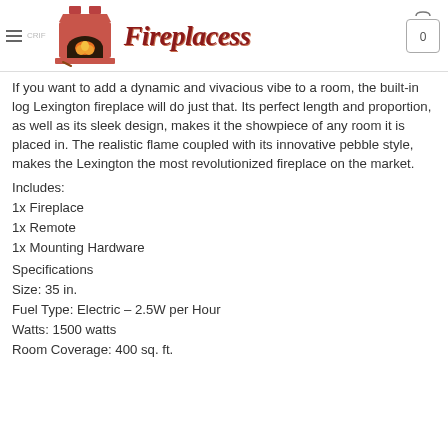Fireplacess
If you want to add a dynamic and vivacious vibe to a room, the built-in log Lexington fireplace will do just that. Its perfect length and proportion, as well as its sleek design, makes it the showpiece of any room it is placed in. The realistic flame coupled with its innovative pebble style, makes the Lexington the most revolutionized fireplace on the market.
Includes:
1x Fireplace
1x Remote
1x Mounting Hardware
Specifications
Size: 35 in.
Fuel Type: Electric – 2.5W per Hour
Watts: 1500 watts
Room Coverage: 400 sq. ft.